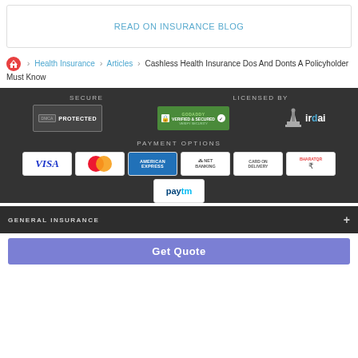READ ON INSURANCE BLOG
Home > Health Insurance > Articles > Cashless Health Insurance Dos And Donts A Policyholder Must Know
SECURE | LICENSED BY
[Figure (infographic): Security badges: DMCA Protected, GoDaddy Verified & Secured, IRDAI logo]
PAYMENT OPTIONS
[Figure (infographic): Payment option badges: Visa, Mastercard, American Express, Net Banking, Card On Delivery, Bharat QR, Paytm]
GENERAL INSURANCE +
Get Quote